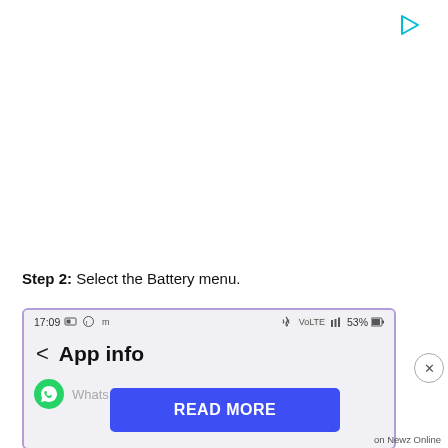[Figure (screenshot): Small cyan/teal play button triangle icon in top-right corner of page]
Step 2: Select the Battery menu.
[Figure (screenshot): Android phone screenshot showing status bar with time 17:09 and icons, and App info screen header with back arrow]
[Figure (other): READ MORE button overlay in blue/indigo color]
on Newz Online